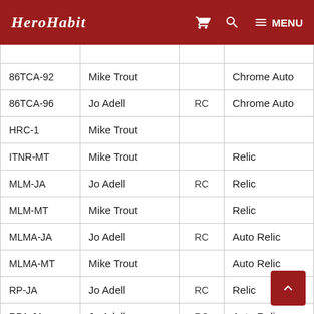HeroHabit — MENU
| Card # | Player | RC | Type |
| --- | --- | --- | --- |
| 86TCA-92 | Mike Trout |  | Chrome Auto |
| 86TCA-96 | Jo Adell | RC | Chrome Auto |
| HRC-1 | Mike Trout |  |  |
| ITNR-MT | Mike Trout |  | Relic |
| MLM-JA | Jo Adell | RC | Relic |
| MLM-MT | Mike Trout |  | Relic |
| MLMA-JA | Jo Adell | RC | Auto Relic |
| MLMA-MT | Mike Trout |  | Auto Relic |
| RP-JA | Jo Adell | RC | Relic |
| RPA-JA | Jo Adell | RC | Auto Relic |